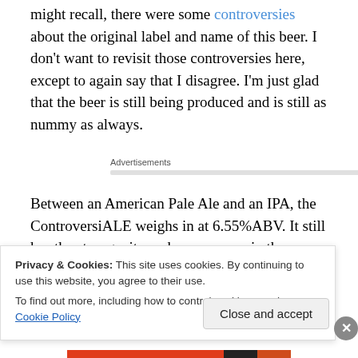might recall, there were some controversies about the original label and name of this beer. I don't want to revisit those controversies here, except to again say that I disagree. I'm just glad that the beer is still being produced and is still as nummy as always.
Advertisements
Between an American Pale Ale and an IPA, the ControversiALE weighs in at 6.55%ABV. It still has the strong, citrusy hop presence in the aroma and taste. The
Privacy & Cookies: This site uses cookies. By continuing to use this website, you agree to their use.
To find out more, including how to control cookies, see here: Cookie Policy
Close and accept